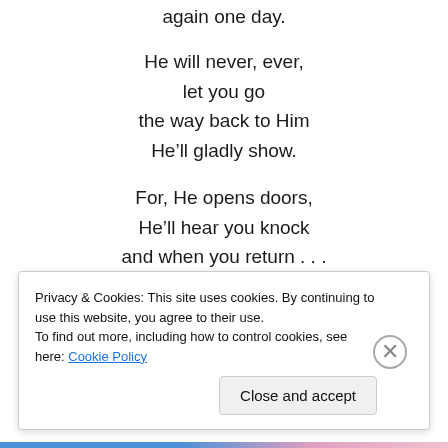again one day.
He will never, ever,
let you go
the way back to Him
He’ll gladly show.
For, He opens doors,
He’ll hear you knock
and when you return . . .
Jesus will be your Rock!
~~~~~~~
Privacy & Cookies: This site uses cookies. By continuing to use this website, you agree to their use.
To find out more, including how to control cookies, see here: Cookie Policy
Close and accept